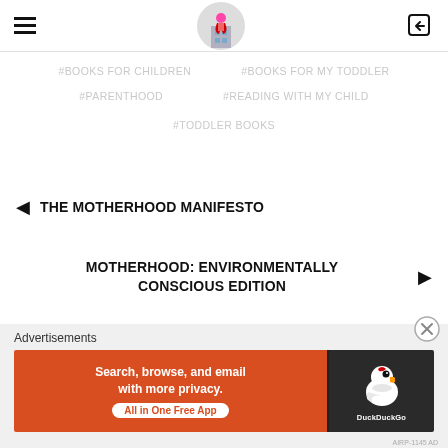Navigation header with hamburger menu, site logo, and login icon
#BOOKS FOR CHILDREN
#BOOKS FOR MY TODDLER
#PARENTHOOD
#READING WITH MY CHILD
#TODDLER BOOKS
◄ THE MOTHERHOOD MANIFESTO
MOTHERHOOD: ENVIRONMENTALLY CONSCIOUS EDITION ►
Advertisements
[Figure (screenshot): DuckDuckGo advertisement banner: orange left panel with text 'Search, browse, and email with more privacy. All in One Free App', dark right panel with DuckDuckGo duck logo]